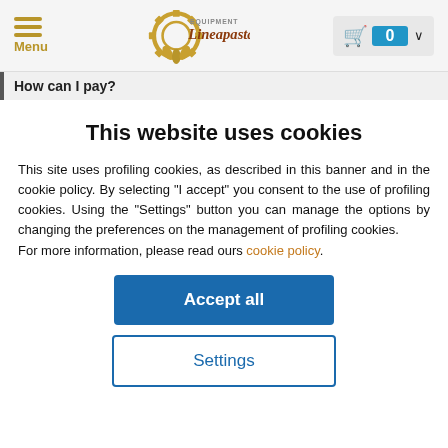[Figure (logo): Lineapasta Equipment logo with gear and wheat motif]
How can I pay?
This website uses cookies
This site uses profiling cookies, as described in this banner and in the cookie policy. By selecting "I accept" you consent to the use of profiling cookies. Using the "Settings" button you can manage the options by changing the preferences on the management of profiling cookies.
For more information, please read ours cookie policy.
Accept all
Settings